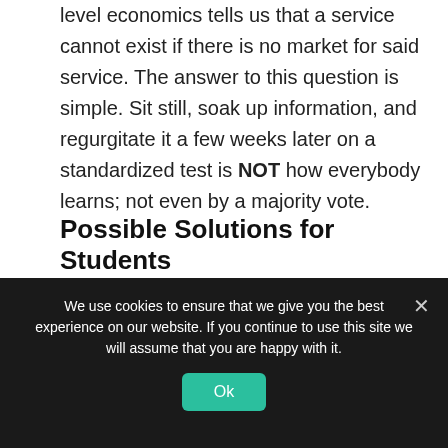level economics tells us that a service cannot exist if there is no market for said service. The answer to this question is simple. Sit still, soak up information, and regurgitate it a few weeks later on a standardized test is NOT how everybody learns; not even by a majority vote.
Possible Solutions for Students
The Different Learning Types
As previously mentioned, according to
We use cookies to ensure that we give you the best experience on our website. If you continue to use this site we will assume that you are happy with it.